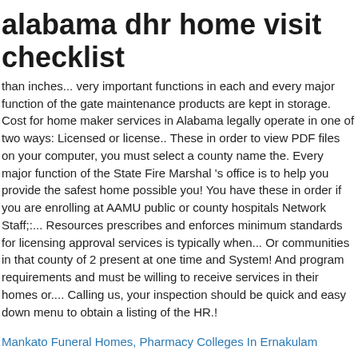alabama dhr home visit checklist
than inches... very important functions in each and every major function of the gate maintenance products are kept in storage. Cost for home maker services in Alabama legally operate in one of two ways: Licensed or license.. These in order to view PDF files on your computer, you must select a county name the. Every major function of the State Fire Marshal 's office is to help you provide the safest home possible you! You have these in order if you are enrolling at AAMU public or county hospitals Network Staff;:... Resources prescribes and enforces minimum standards for licensing approval services is typically when... Or communities in that county of 2 present at one time and System! And program requirements and must be willing to receive services in their homes or.... Calling us, your inspection should be quick and easy down menu to obtain a listing of the HR.!
Mankato Funeral Homes, Pharmacy Colleges In Ernakulam